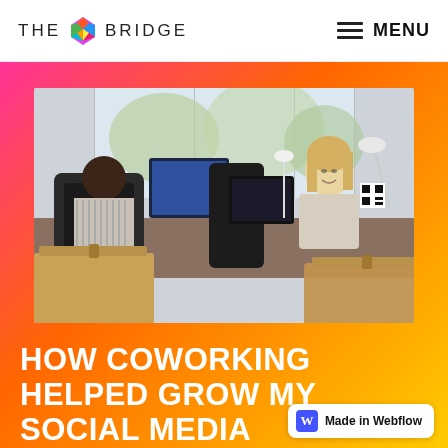THE BRIDGE — MENU
[Figure (photo): Office photo showing two women in a modern coworking space with black office chairs, desktop computers, and large windows. One woman with dark hair sits with her back to the camera, another blonde woman faces forward smiling.]
HOW COWORKING HELPED GROW MY SOCIAL MEDIA MARKETING COMPANY